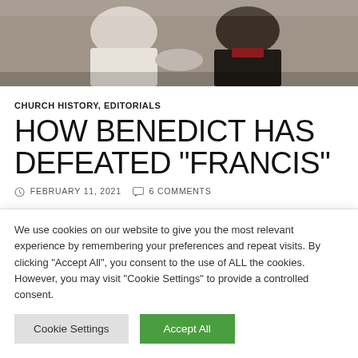[Figure (photo): Two figures shaking hands: one in white papal vestments on the left, one in dark clothing on the right, partially visible, photographed indoors.]
CHURCH HISTORY, EDITORIALS
HOW BENEDICT HAS DEFEATED “FRANCIS”
FEBRUARY 11, 2021  6 COMMENTS
Or, Why did Pope Benedict XVI do
We use cookies on our website to give you the most relevant experience by remembering your preferences and repeat visits. By clicking “Accept All”, you consent to the use of ALL the cookies. However, you may visit "Cookie Settings" to provide a controlled consent.